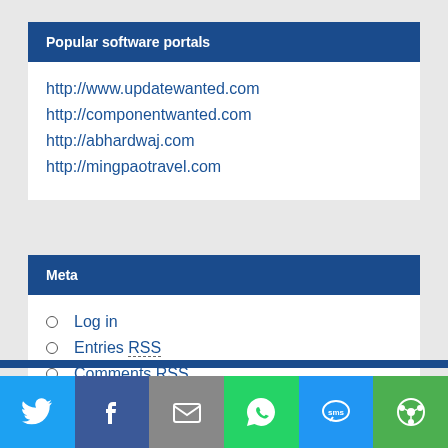Popular software portals
http://www.updatewanted.com
http://componentwanted.com
http://abhardwaj.com
http://mingpaotravel.com
Meta
Log in
Entries RSS
Comments RSS
[Figure (infographic): Social share bar with Twitter, Facebook, Email, WhatsApp, SMS, and another share icon buttons]